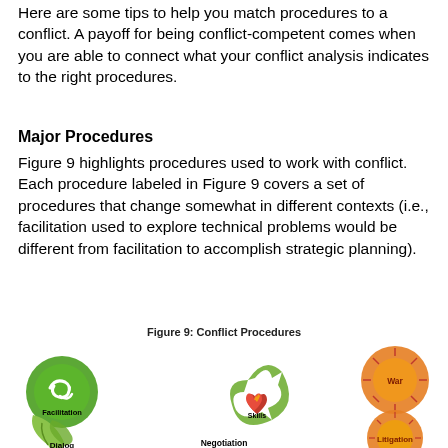Here are some tips to help you match procedures to a conflict. A payoff for being conflict-competent comes when you are able to connect what your conflict analysis indicates to the right procedures.
Major Procedures
Figure 9 highlights procedures used to work with conflict. Each procedure labeled in Figure 9 covers a set of procedures that change somewhat in different contexts (i.e., facilitation used to explore technical problems would be different from facilitation to accomplish strategic planning).
[Figure (infographic): Figure 9: Conflict Procedures - circular infographic showing conflict resolution procedures including Facilitation (green circle with arrows), Dialog (green leaf icon), Negotiation (bottom center), Skills (red heart with flame in center recycling arrows), War (orange sunburst circle top right), and Litigation (orange sunburst circle bottom right), all arranged around a central recycling arrows symbol.]